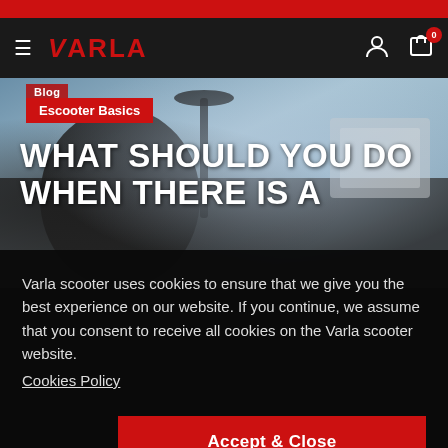Varla — navigation bar with hamburger menu, logo, user icon, cart icon with badge 0
[Figure (photo): Hero background photo showing a person with a scooter outdoors with blue sky]
Blog
Escooter Basics
WHAT SHOULD YOU DO WHEN THERE IS A
Varla scooter uses cookies to ensure that we give you the best experience on our website. If you continue, we assume that you consent to receive all cookies on the Varla scooter website. Cookies Policy
Accept & Close